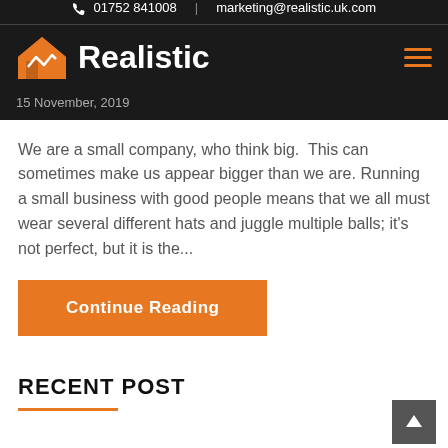01752 841008 | marketing@realistic.uk.com
[Figure (logo): Realistic company logo with orange house icon and white bold text 'Realistic' on dark background]
15 November, 2019
We are a small company, who think big.  This can sometimes make us appear bigger than we are. Running a small business with good people means that we all must wear several different hats and juggle multiple balls; it's not perfect, but it is the...
Continue Reading
RECENT POST